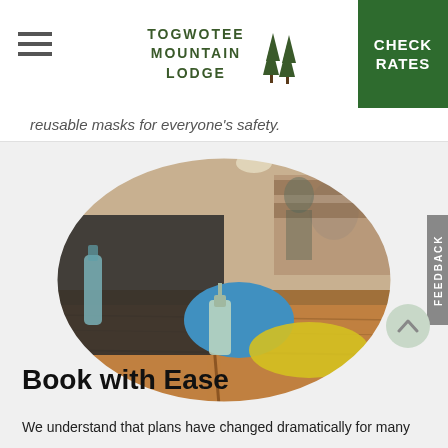TOGWOTEE MOUNTAIN LODGE | CHECK RATES
reusable masks for everyone's safety.
[Figure (photo): Person wearing blue gloves cleaning a wooden table with a spray bottle and yellow cloth in a café/restaurant setting, shown within an oval crop.]
Book with Ease
We understand that plans have changed dramatically for many